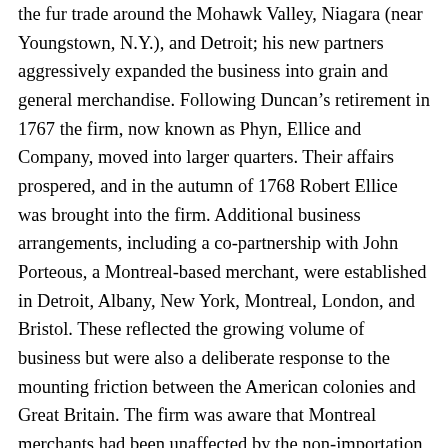the fur trade around the Mohawk Valley, Niagara (near Youngstown, N.Y.), and Detroit; his new partners aggressively expanded the business into grain and general merchandise. Following Duncan's retirement in 1767 the firm, now known as Phyn, Ellice and Company, moved into larger quarters. Their affairs prospered, and in the autumn of 1768 Robert Ellice was brought into the firm. Additional business arrangements, including a co-partnership with John Porteous, a Montreal-based merchant, were established in Detroit, Albany, New York, Montreal, London, and Bristol. These reflected the growing volume of business but were also a deliberate response to the mounting friction between the American colonies and Great Britain. The firm was aware that Montreal merchants had been unaffected by the non-importation agreements in force in the American colonies in the late 1760s, and as early as 1770 they made arrangements to import their trade goods for the interior and market their furs through Quebec.
As an adjunct to the fur trade, during the late 1760s the firm